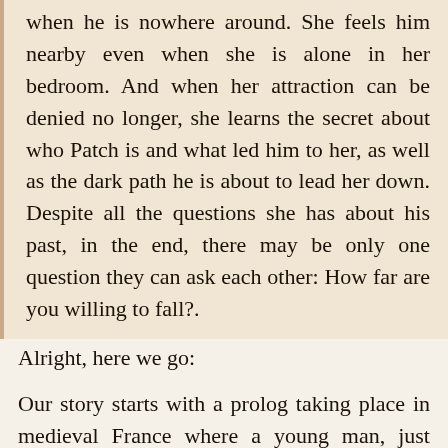when he is nowhere around. She feels him nearby even when she is alone in her bedroom. And when her attraction can be denied no longer, she learns the secret about who Patch is and what led him to her, as well as the dark path he is about to lead her down. Despite all the questions she has about his past, in the end, there may be only one question they can ask each other: How far are you willing to fall?.
Alright, here we go:
Our story starts with a prolog taking place in medieval France where a young man, just finished up with seeing some prostitute, which automatically